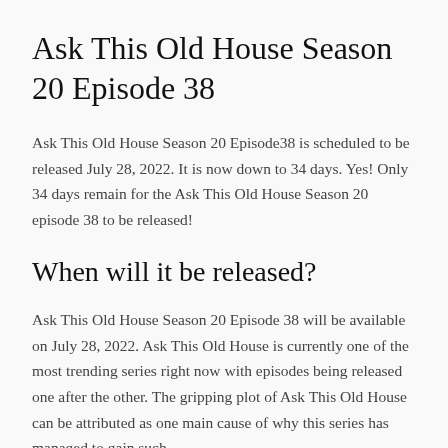Ask This Old House Season 20 Episode 38
Ask This Old House Season 20 Episode38 is scheduled to be released July 28, 2022. It is now down to 34 days. Yes! Only 34 days remain for the Ask This Old House Season 20 episode 38 to be released!
When will it be released?
Ask This Old House Season 20 Episode 38 will be available on July 28, 2022. Ask This Old House is currently one of the most trending series right now with episodes being released one after the other. The gripping plot of Ask This Old House can be attributed as one main cause of why this series has managed to gain such